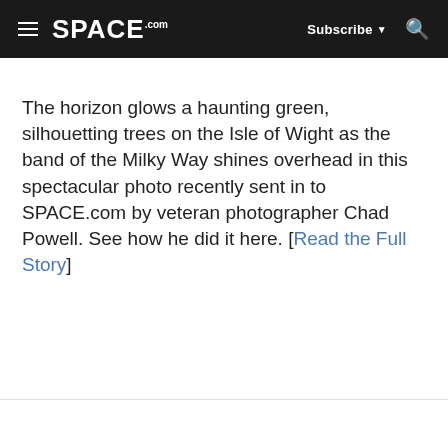SPACE.com | Subscribe | Search
The horizon glows a haunting green, silhouetting trees on the Isle of Wight as the band of the Milky Way shines overhead in this spectacular photo recently sent in to SPACE.com by veteran photographer Chad Powell. See how he did it here. [Read the Full Story]